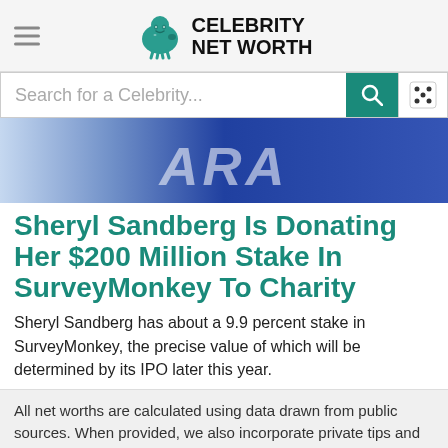Celebrity Net Worth
Search for a Celebrity...
[Figure (photo): Partial view of a blue sign with white lettering, partially visible letters resembling 'ARA' or similar]
Sheryl Sandberg Is Donating Her $200 Million Stake In SurveyMonkey To Charity
Sheryl Sandberg has about a 9.9 percent stake in SurveyMonkey, the precise value of which will be determined by its IPO later this year.
All net worths are calculated using data drawn from public sources. When provided, we also incorporate private tips and feedback received from the subjects themselves that represent their net worth numbers. How accurate are these
[Figure (other): CarMax advertisement banner: We're Open and Here to Help]